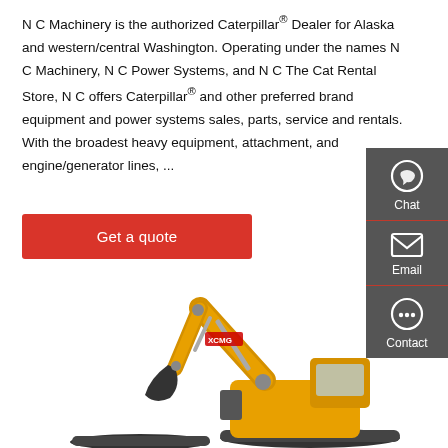N C Machinery is the authorized Caterpillar® Dealer for Alaska and western/central Washington. Operating under the names N C Machinery, N C Power Systems, and N C The Cat Rental Store, N C offers Caterpillar® and other preferred brand equipment and power systems sales, parts, service and rentals. With the broadest heavy equipment, attachment, and engine/generator lines, ...
[Figure (other): Sidebar with Chat, Email, and Contact icons on dark grey background]
[Figure (photo): Yellow XCMG excavator/backhoe on white background, lower portion of image]